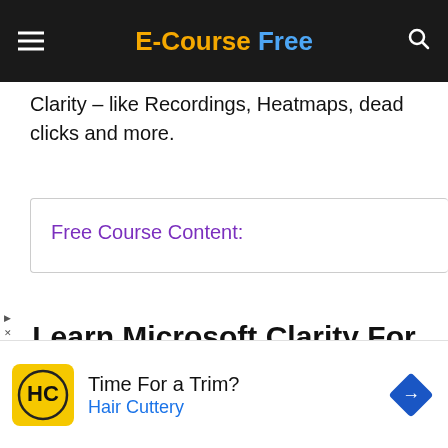E-Course Free
Clarity – like Recordings, Heatmaps, dead clicks and more.
Free Course Content:
Learn Microsoft Clarity For Web Analytics Free with Udemy Course
[Figure (screenshot): Advertisement banner: Hair Cuttery ad with logo and 'Time For a Trim?' text]